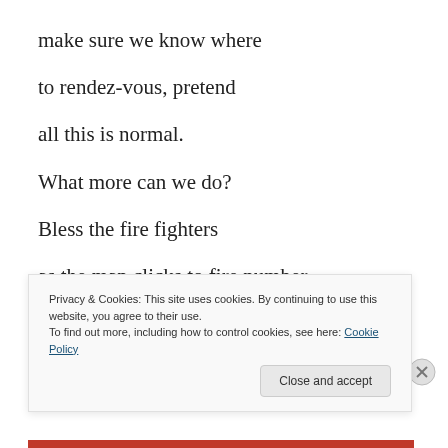make sure we know where
to rendez-vous, pretend
all this is normal.
What more can we do?
Bless the fire fighters
as the map clicks to fire number
one thousand one hundred thirty two
Privacy & Cookies: This site uses cookies. By continuing to use this website, you agree to their use.
To find out more, including how to control cookies, see here: Cookie Policy